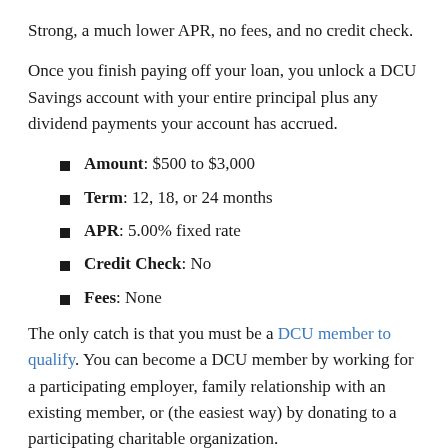Strong, a much lower APR, no fees, and no credit check.
Once you finish paying off your loan, you unlock a DCU Savings account with your entire principal plus any dividend payments your account has accrued.
Amount: $500 to $3,000
Term: 12, 18, or 24 months
APR: 5.00% fixed rate
Credit Check: No
Fees: None
The only catch is that you must be a DCU member to qualify. You can become a DCU member by working for a participating employer, family relationship with an existing member, or (the easiest way) by donating to a participating charitable organization.